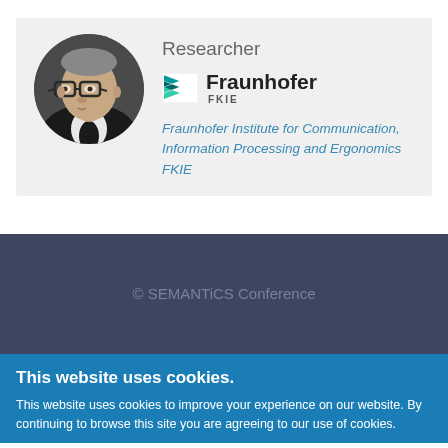[Figure (photo): Circular profile photo of a middle-aged man with glasses wearing a dark suit]
Researcher
[Figure (logo): Fraunhofer FKIE logo with green/teal flag icon and bold Fraunhofer text with FKIE subtitle]
Fraunhofer Institute for Communication, Information Processing and Ergonomics FKIE
© SEMANTiCS Conference
This website uses cookies.
This website uses cookies to improve your experience on our website. By continuing to browse this site you are agreeing to our use of cookies.